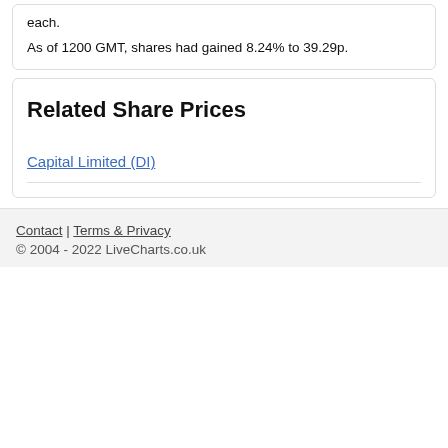each.
As of 1200 GMT, shares had gained 8.24% to 39.29p.
Related Share Prices
Capital Limited (DI)
Contact | Terms & Privacy
© 2004 - 2022 LiveCharts.co.uk